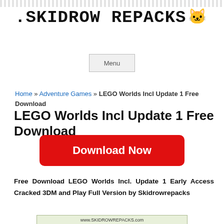decorative header bar pattern
[Figure (logo): Skidrow Repacks logo with stylized blocky text and cat icon]
Menu
Home » Adventure Games » LEGO Worlds Incl Update 1 Free Download
LEGO Worlds Incl Update 1 Free Download
[Figure (other): Red Download Now button]
Free Download LEGO Worlds Incl. Update 1 Early Access Cracked 3DM and Play Full Version by Skidrowrepacks
[Figure (screenshot): Game screenshot with www.SKIDROWREPACKS.com watermark, showing LEGO Worlds game imagery]